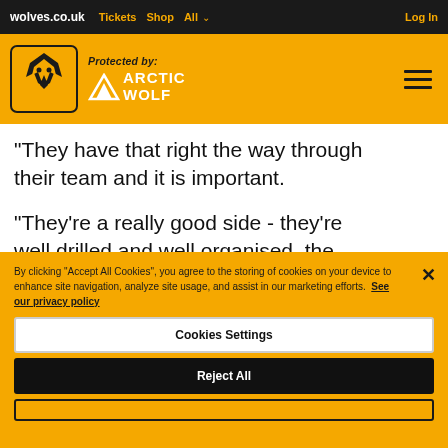wolves.co.uk  Tickets  Shop  All  Log In
[Figure (logo): Wolverhampton Wanderers wolves.co.uk header with Wolves crest logo and Arctic Wolf sponsor logo on yellow background with hamburger menu]
“They have that right the way through their team and it is important.
“They’re a really good side - they’re well drilled and well organised, the front to are a handful as well.
By clicking “Accept All Cookies”, you agree to the storing of cookies on your device to enhance site navigation, analyze site usage, and assist in our marketing efforts. See our privacy policy
Cookies Settings
Reject All